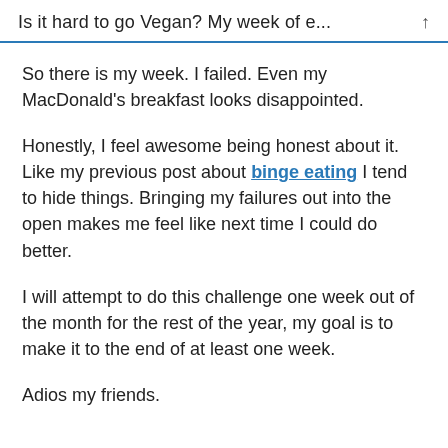Is it hard to go Vegan? My week of e...
So there is my week. I failed. Even my MacDonald's breakfast looks disappointed.
Honestly, I feel awesome being honest about it. Like my previous post about binge eating I tend to hide things. Bringing my failures out into the open makes me feel like next time I could do better.
I will attempt to do this challenge one week out of the month for the rest of the year, my goal is to make it to the end of at least one week.
Adios my friends.